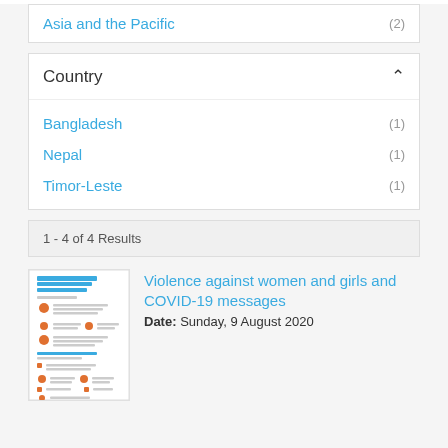Asia and the Pacific (2)
Country
Bangladesh (1)
Nepal (1)
Timor-Leste (1)
1 - 4 of 4 Results
[Figure (screenshot): Thumbnail image of a document titled 'Violence against women and girls and COVID-19 messages']
Violence against women and girls and COVID-19 messages
Date: Sunday, 9 August 2020